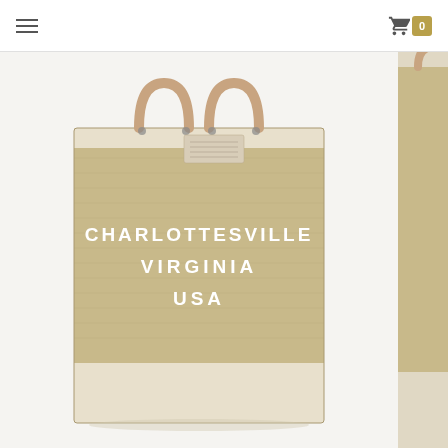Navigation menu and shopping cart (0 items)
[Figure (photo): A burlap/jute market tote bag with leather handles, printed with CHARLOTTESVILLE VIRGINIA USA in white text. The bag has a natural beige/tan woven texture with a lighter colored top and bottom band. Photographed on a white background.]